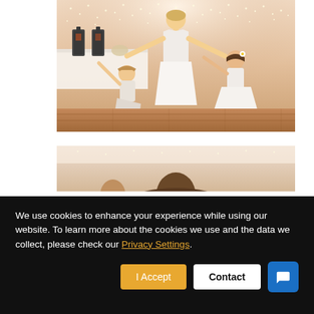[Figure (photo): Wedding photo showing a bride in a white gown dancing with two flower girls spinning around on a wooden dance floor, in front of a glowing fairy-light curtain backdrop. Black lantern decorations and a white-clothed table are visible in the background.]
[Figure (photo): Partial view of a second wedding photo showing what appears to be guests or participants, partially cropped at the bottom of the visible area, with similar fairy-light backdrop.]
We use cookies to enhance your experience while using our website. To learn more about the cookies we use and the data we collect, please check our Privacy Settings.